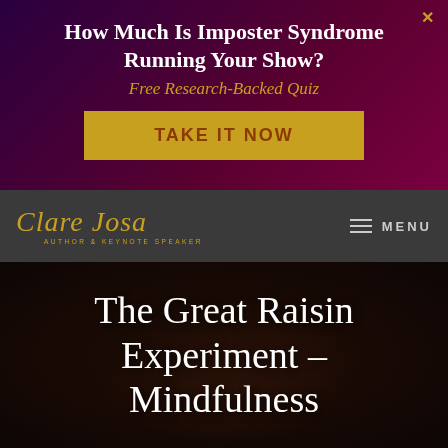How Much Is Imposter Syndrome Running Your Show?
Free Research-Backed Quiz
TAKE IT NOW
[Figure (logo): Clare Josa - Author & Keynote Speaker script logo in gold]
MENU
The Great Raisin Experiment – Mindfulness